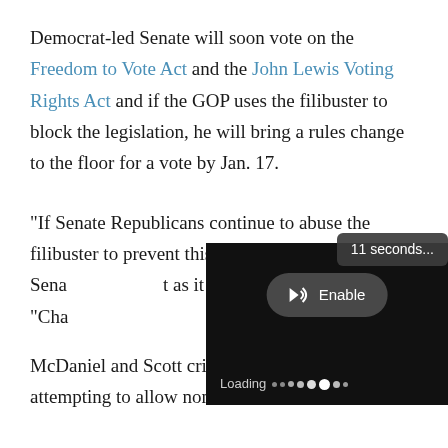Democrat-led Senate will soon vote on the Freedom to Vote Act and the John Lewis Voting Rights Act and if the GOP uses the filibuster to block the legislation, he will bring a rules change to the floor for a vote by Jan. 17.
"If Senate Republicans continue to abuse the filibuster to prevent this body from acting, then the Senate must adapt as it has before," he said. "Cha[nging the Senate rules is] nothing new."
[Figure (screenshot): Video player overlay showing '11 seconds...' tooltip, an Enable audio button with speaker icon, and a Loading indicator with animated dots on a black background.]
McDaniel and Scott criticized localities that are attempting to allow non-citizens to cast ballots.